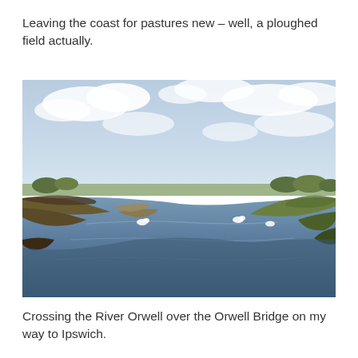Leaving the coast for pastures new – well, a ploughed field actually.
[Figure (photo): A wide river estuary photographed from a bridge or elevated viewpoint. The calm water stretches ahead with flat marshy banks on either side, a few white swans or birds on the water, green and brown vegetation on the banks, and a partly cloudy blue sky above. Trees and fields are visible on the distant horizon.]
Crossing the River Orwell over the Orwell Bridge on my way to Ipswich.